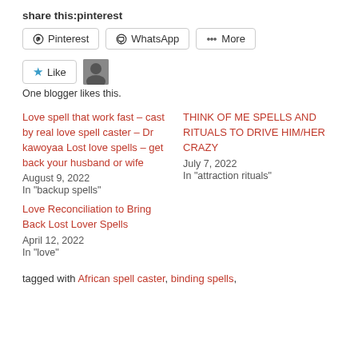share this:pinterest
Pinterest  WhatsApp  More
[Figure (other): Like button with star icon and blogger avatar]
One blogger likes this.
Love spell that work fast – cast by real love spell caster – Dr kawoyaa Lost love spells – get back your husband or wife
August 9, 2022
In "backup spells"
THINK OF ME SPELLS AND RITUALS TO DRIVE HIM/HER CRAZY
July 7, 2022
In "attraction rituals"
Love Reconciliation to Bring Back Lost Lover Spells
April 12, 2022
In "love"
tagged with African spell caster, binding spells,